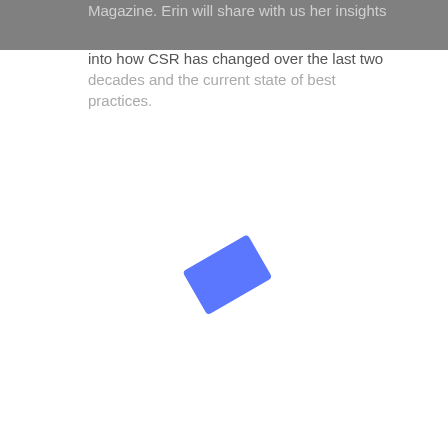Magazine. Erin will share with us her insights into how CSR has changed over the last two decades and the current state of best practices.
[Figure (other): A blue rotated rectangle shape on white background, resembling a loading or placeholder icon]